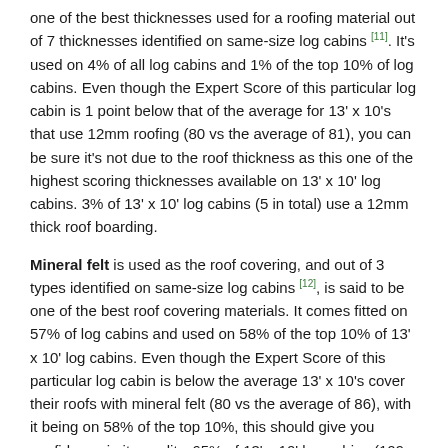one of the best thicknesses used for a roofing material out of 7 thicknesses identified on same-size log cabins [11]. It's used on 4% of all log cabins and 1% of the top 10% of log cabins. Even though the Expert Score of this particular log cabin is 1 point below that of the average for 13' x 10's that use 12mm roofing (80 vs the average of 81), you can be sure it's not due to the roof thickness as this one of the highest scoring thicknesses available on 13' x 10' log cabins. 3% of 13' x 10' log cabins (5 in total) use a 12mm thick roof boarding.
Mineral felt is used as the roof covering, and out of 3 types identified on same-size log cabins [12], is said to be one of the best roof covering materials. It comes fitted on 57% of log cabins and used on 58% of the top 10% of 13' x 10' log cabins. Even though the Expert Score of this particular log cabin is below the average 13' x 10's cover their roofs with mineral felt (80 vs the average of 86), with it being on 58% of the top 10%, this should give you confidence in its quality. 65% of 13' x 10' log cabins (109 in total) make use of a mineral felt material as a roof covering.
Read full analysis for roofing.